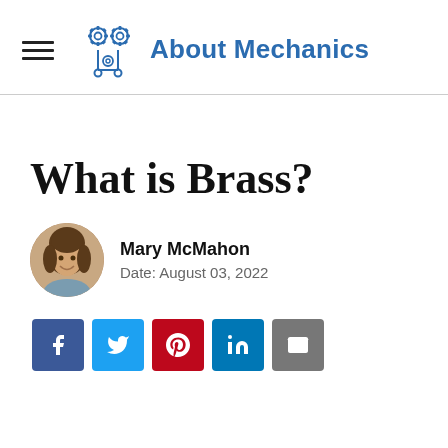About Mechanics
What is Brass?
Mary McMahon
Date: August 03, 2022